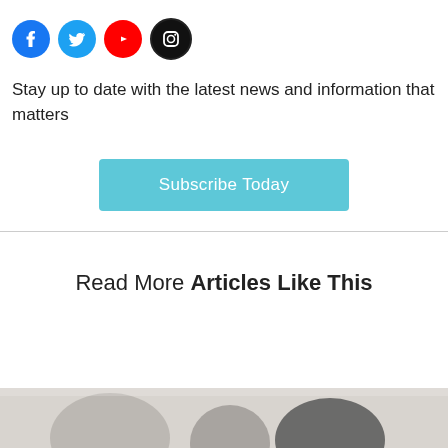[Figure (infographic): Four social media icon circles: Facebook (blue), Twitter (light blue), YouTube (red), Instagram (black outline)]
Stay up to date with the latest news and information that matters
Subscribe Today
Read More Articles Like This
[Figure (photo): Partial photo strip at bottom of page showing blurred objects on a light background]